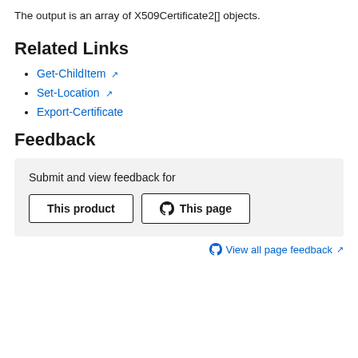The output is an array of X509Certificate2[] objects.
Related Links
Get-ChildItem ↗
Set-Location ↗
Export-Certificate
Feedback
Submit and view feedback for
This product | This page
View all page feedback ↗